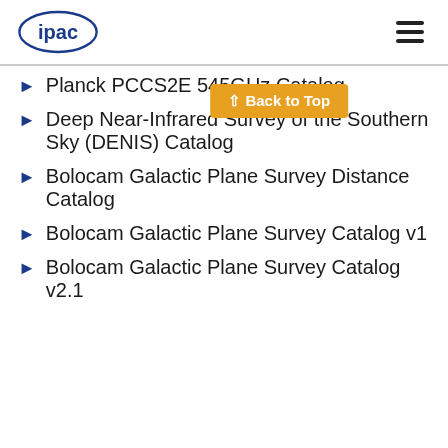ipac [logo] [menu]
Planck PCCS2E 545GHz Catalog
Deep Near-Infrared Survey of the Southern Sky (DENIS) Catalog
Bolocam Galactic Plane Survey Distance Catalog
Bolocam Galactic Plane Survey Catalog v1
Bolocam Galactic Plane Survey Catalog v2.1